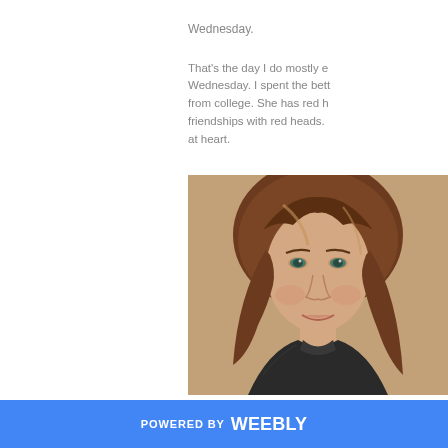Wednesday.
That's the day I do mostly e... Wednesday. I spent the bett... from college. She has red h... friendships with red heads. ... at heart.
[Figure (photo): Portrait photo of a young woman with long brown/auburn wavy hair and bangs, looking at the camera with a slight smile, wearing a dark top.]
POWERED BY weebly